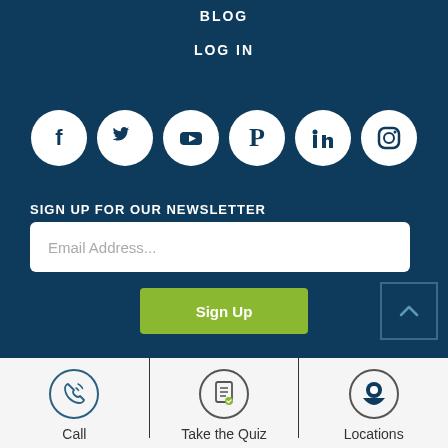BLOG
LOG IN
[Figure (infographic): Six social media icons in white circles on dark blue background: Facebook, Twitter, YouTube, Pinterest, LinkedIn, Instagram]
SIGN UP FOR OUR NEWSLETTER
Email Address...
Sign Up
[Figure (infographic): Phone/call icon in circle]
Call
[Figure (infographic): Clipboard/quiz icon in circle]
Take the Quiz
[Figure (infographic): Map pin/location icon in circle]
Locations